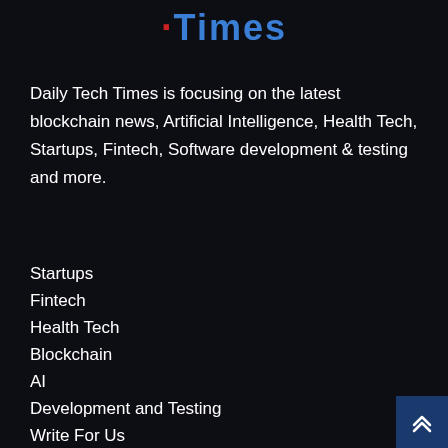Times
Daily Tech Times is focusing on the latest blockchain news, Artificial Intelligence, Health Tech, Startups, Fintech, Software development &amp; testing and more.
Startups
Fintech
Health Tech
Blockchain
AI
Development and Testing
Write For Us
About Us